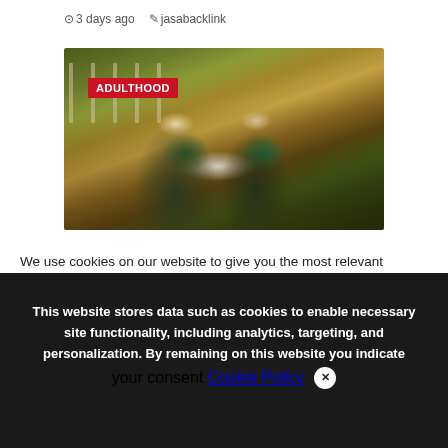⊙ 3 days ago  ✎ jasabacklink
[Figure (photo): Two people with arms around each other, viewed from behind, standing in a golden field. One wears a green jacket, the other a white shirt with green scarf. Wooden fence posts in background. Badge reads ADULTHOOD.]
We use cookies on our website to give you the most relevant experience by remembering your preferences and repeat visits. By clicking "Accept All", you consent to the use of ALL provide a controlled consent.
This website stores data such as cookies to enable necessary site functionality, including analytics, targeting, and personalization. By remaining on this website you indicate your consent Cookie Policy  ✕